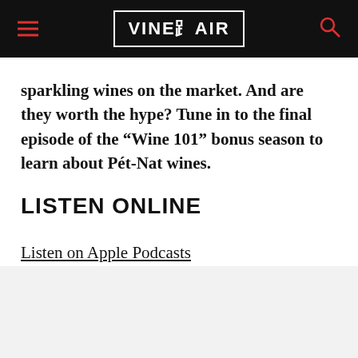VINEPAIR
sparkling wines on the market. And are they worth the hype? Tune in to the final episode of the “Wine 101” bonus season to learn about Pét-Nat wines.
LISTEN ONLINE
Listen on Apple Podcasts